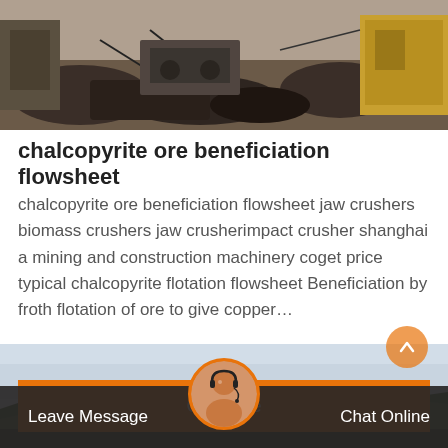[Figure (photo): Industrial mining site with machinery, debris, and equipment in an outdoor setting]
chalcopyrite ore beneficiation flowsheet
chalcopyrite ore beneficiation flowsheet jaw crushers biomass crushers jaw crusherimpact crusher shanghai a mining and construction machinery coget price typical chalcopyrite flotation flowsheet Beneficiation by froth flotation of ore to give copper…
[Figure (photo): Landscape with mountains and sky, partial view at bottom of page]
Leave Message   Chat Online